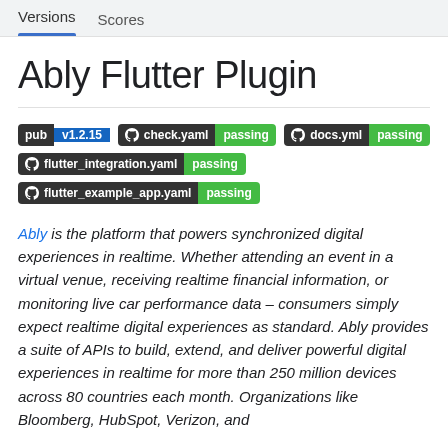Versions   Scores
Ably Flutter Plugin
[Figure (infographic): Badge row 1: pub v1.2.15 | GitHub check.yaml passing | GitHub docs.yml passing. Badge row 2: GitHub flutter_integration.yaml passing. Badge row 3: GitHub flutter_example_app.yaml passing.]
Ably is the platform that powers synchronized digital experiences in realtime. Whether attending an event in a virtual venue, receiving realtime financial information, or monitoring live car performance data – consumers simply expect realtime digital experiences as standard. Ably provides a suite of APIs to build, extend, and deliver powerful digital experiences in realtime for more than 250 million devices across 80 countries each month. Organizations like Bloomberg, HubSpot, Verizon, and